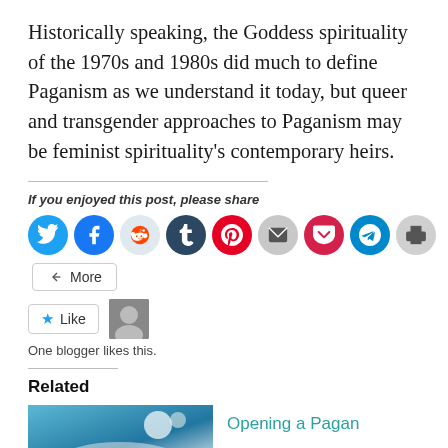Historically speaking, the Goddess spirituality of the 1970s and 1980s did much to define Paganism as we understand it today, but queer and transgender approaches to Paganism may be feminist spirituality’s contemporary heirs.
If you enjoyed this post, please share
[Figure (infographic): Social sharing buttons: Twitter, Facebook, Reddit, Tumblr, Pinterest, Email, Pocket, Telegram, Print, and a More button]
[Figure (infographic): Like button with star icon and a blogger avatar thumbnail]
One blogger likes this.
Related
[Figure (photo): Blue sky photo thumbnail for related post]
Opening a Pagan